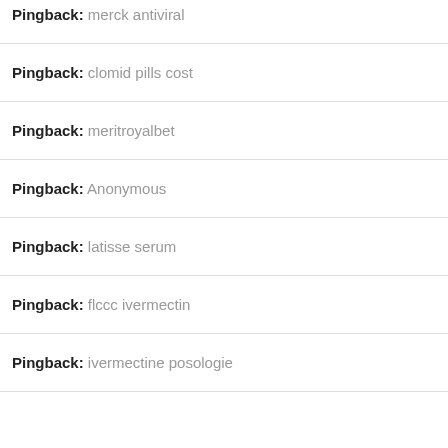Pingback: merck antiviral
Pingback: clomid pills cost
Pingback: meritroyalbet
Pingback: Anonymous
Pingback: latisse serum
Pingback: flccc ivermectin
Pingback: ivermectine posologie